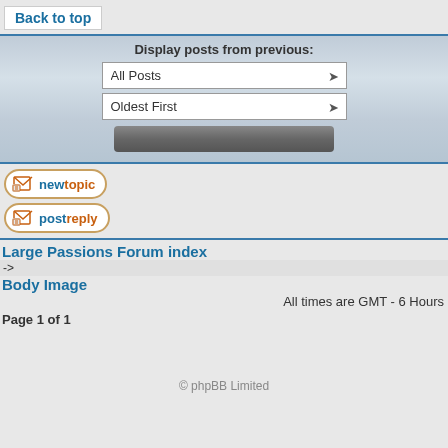Back to top
Display posts from previous:
All Posts
Oldest First
[Figure (screenshot): Go button - dark gray rounded button]
[Figure (screenshot): New topic button with envelope icon]
[Figure (screenshot): Post reply button with envelope icon]
Large Passions Forum index
->
Body Image
All times are GMT - 6 Hours
Page 1 of 1
© phpBB Limited